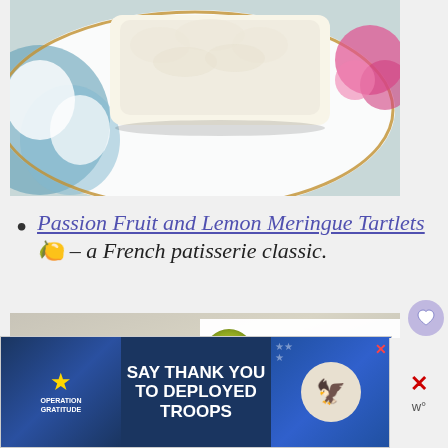[Figure (photo): Top photo of food (meringue tartlets or similar pastry) on a decorative plate with blue floral pattern and gold trim, pink flowers visible at right edge]
Passion Fruit and Lemon Meringue Tartlets 🍋 – a French patisserie classic.
[Figure (photo): Bottom photo of food items (tartlets) on a surface, partially blurred. 'What's Next' overlay showing Lemon granita (Italian style) with a thumbnail image]
[Figure (photo): Advertisement banner: Operation Gratitude - SAY THANK YOU TO DEPLOYED TROOPS, with patriotic imagery and mascot character]